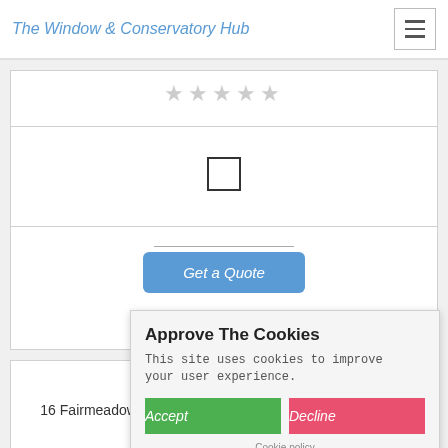The Window & Conservatory Hub
[Figure (other): Star rating row (5 empty/grey stars)]
[Figure (other): Empty checkbox square]
[Figure (other): Get a Quote button]
Carillon Windows
16 Fairmeadows Way, Loughborough, Leicestershire, LE11 2O
10.62
Approve The Cookies
This site uses cookies to improve your user experience.
Accept
Decline
Cookie policy